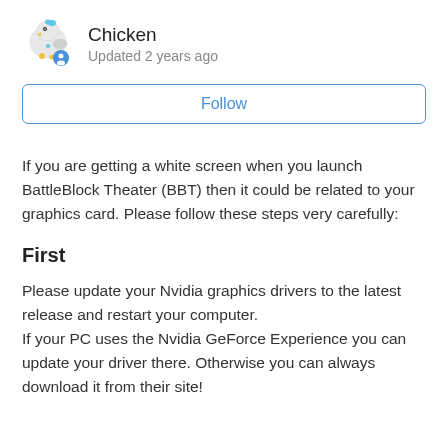Chicken
Updated 2 years ago
Follow
If you are getting a white screen when you launch BattleBlock Theater (BBT) then it could be related to your graphics card. Please follow these steps very carefully:
First
Please update your Nvidia graphics drivers to the latest release and restart your computer.
If your PC uses the Nvidia GeForce Experience you can update your driver there. Otherwise you can always download it from their site!